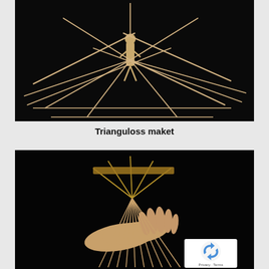[Figure (photo): A wooden puppet or figure sculpture standing amid a geometric structure of wooden sticks/rods arranged in a fan-like triangular pattern against a black background. The rods radiate outward from the central figure, crossing each other to create a complex angular geometric form.]
Trianguloss maket
[Figure (photo): Hands holding a fan-like structure made of thin wooden or metallic sticks/rods arranged in a radiating triangular pattern, photographed against a black background. A reCAPTCHA privacy badge overlay appears in the bottom right corner.]